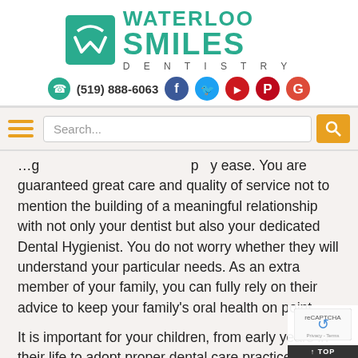[Figure (logo): Waterloo Smiles Dentistry logo with teal W icon and text]
(519) 888-6063 with social media icons (Facebook, Twitter, YouTube, Pinterest, Google)
ease. You are guaranteed great care and quality of service not to mention the building of a meaningful relationship with not only your dentist but also your dedicated Dental Hygienist. You do not worry whether they will understand your particular needs. As an extra member of your family, you can fully rely on their advice to keep your family's oral health on point.
It is important for your children, from early years in their life to adopt proper dental care practices. Proper brushing, flossing and rinsing can prevent gum diseases and cavities while keeping their mouths clean and fresh. Having a family